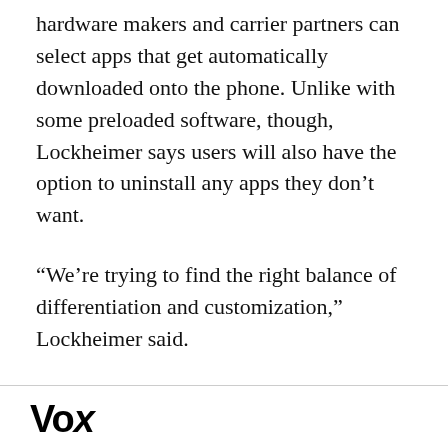hardware makers and carrier partners can select apps that get automatically downloaded onto the phone. Unlike with some preloaded software, though, Lockheimer says users will also have the option to uninstall any apps they don't want.
“We’re trying to find the right balance of differentiation and customization,” Lockheimer said.
Vox